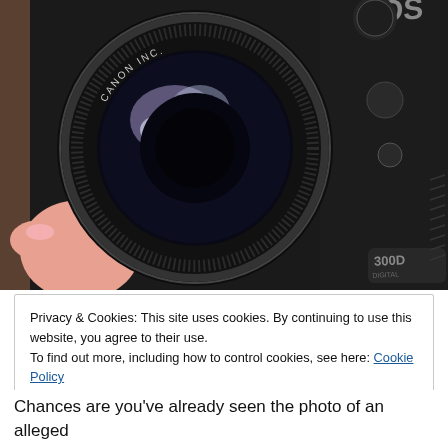[Figure (photo): Close-up photo of a Canon EOS 300D digital camera with a Canon INC. 52mm lens, held by a hand with pink fingernails. The camera body is black with 'EOS' and '300D DIGITAL' text visible.]
Privacy & Cookies: This site uses cookies. By continuing to use this website, you agree to their use.
To find out more, including how to control cookies, see here: Cookie Policy
Close and accept
Chances are you've already seen the photo of an alleged